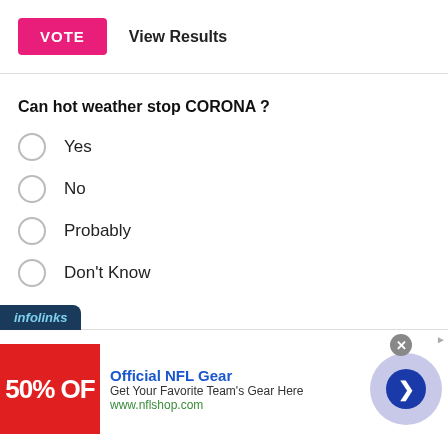VOTE   View Results
Can hot weather stop CORONA ?
Yes
No
Probably
Don't Know
[Figure (infographic): Infolinks ad banner with Official NFL Gear advertisement showing 50% OFF, text: Get Your Favorite Team's Gear Here, www.nflshop.com, with navigation arrow button]